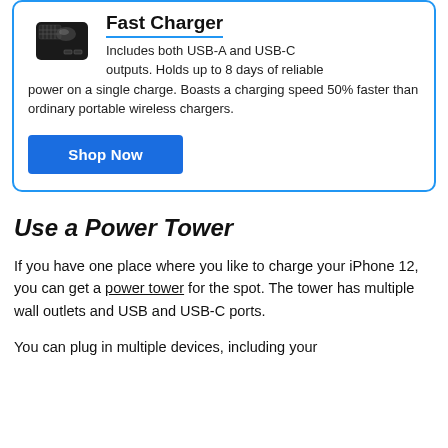[Figure (photo): Photo of a black portable solar/battery fast charger device]
Fast Charger
Includes both USB-A and USB-C outputs. Holds up to 8 days of reliable power on a single charge. Boasts a charging speed 50% faster than ordinary portable wireless chargers.
Shop Now
Use a Power Tower
If you have one place where you like to charge your iPhone 12, you can get a power tower for the spot. The tower has multiple wall outlets and USB and USB-C ports.
You can plug in multiple devices, including your